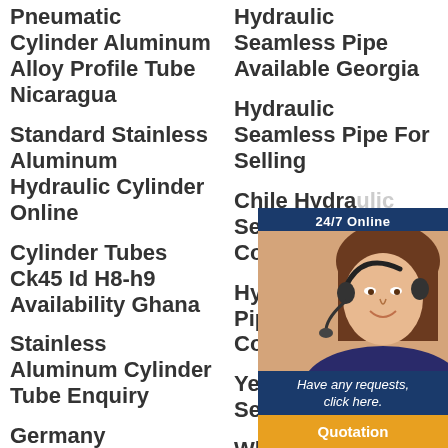Pneumatic Cylinder Aluminum Alloy Profile Tube Nicaragua
Standard Stainless Aluminum Hydraulic Cylinder Online
Cylinder Tubes Ck45 Id H8-h9 Availability Ghana
Stainless Aluminum Cylinder Tube Enquiry
Germany Wholesale Aluminum Alloy Square Tube 6063
Hydraulic Seamless Pipe Available Georgia
Hydraulic Seamless Pipe For Selling
Chile Hydraulic Seamless P... Condenser...
Hydraulic S... Pipe Distrib... Concrete
Yemen Hyd... Seamless P...
Wholesale Seamless Honed Tube For Hydraulic Cylinder
[Figure (other): 24/7 Online customer support widget with a smiling woman wearing a headset, dark blue background, text 'Have any requests, click here.' and an orange Quotation button.]